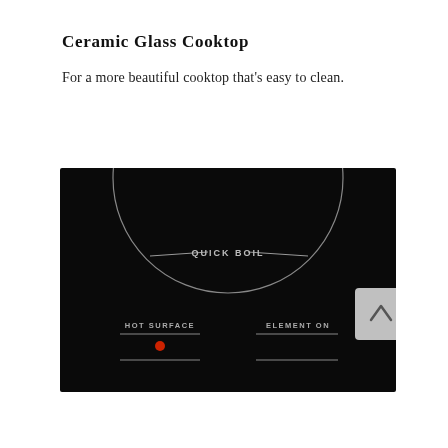Ceramic Glass Cooktop
For a more beautiful cooktop that's easy to clean.
[Figure (photo): Black ceramic glass cooktop surface showing a circular burner with 'QUICK BOIL' label at the top, and two indicator lights at the bottom labeled 'HOT SURFACE' (with a red dot indicator) and 'ELEMENT ON', each with horizontal lines beneath them. A scroll-up button is visible on the right side.]